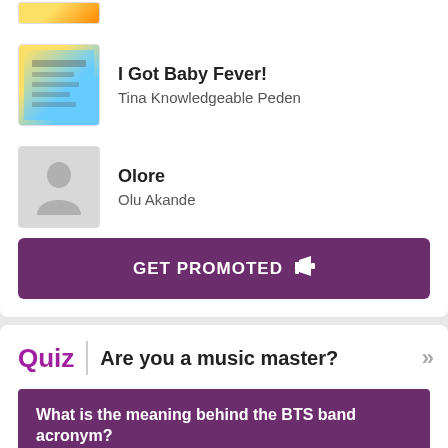I Got Baby Fever! — Tina Knowledgeable Peden
Olore — Olu Akande
GET PROMOTED
Quiz | Are you a music master?
What is the meaning behind the BTS band acronym?
A. Bulletproof Boy Scouts
B. Behind The Scene